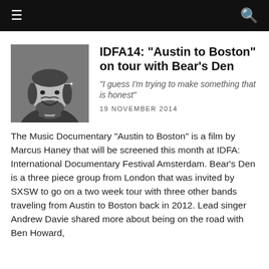≡  🔍
[Figure (photo): Black and white photo of a smiling bearded man, with a right-pointing arrow overlaid on the right side of the image.]
IDFA14: "Austin to Boston" on tour with Bear's Den
"I guess I'm trying to make something that is honest"
19 NOVEMBER 2014
The Music Documentary "Austin to Boston" is a film by Marcus Haney that will be screened this month at IDFA: International Documentary Festival Amsterdam. Bear's Den is a three piece group from London that was invited by SXSW to go on a two week tour with three other bands traveling from Austin to Boston back in 2012. Lead singer Andrew Davie shared more about being on the road with Ben Howard,